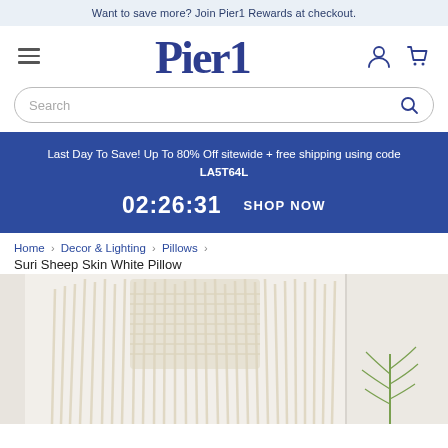Want to save more? Join Pier1 Rewards at checkout.
[Figure (logo): Pier1 logo with hamburger menu, account icon, and cart icon]
[Figure (screenshot): Search bar with placeholder text 'Search' and magnifying glass icon]
Last Day To Save! Up To 80% Off sitewide + free shipping using code LA5T64L
02:26:31   SHOP NOW
Home > Decor & Lighting > Pillows > Suri Sheep Skin White Pillow
[Figure (photo): Product photo of Suri Sheep Skin White Pillow showing woven macrame textile with fringe, white shag texture, and a fern leaf in the background]